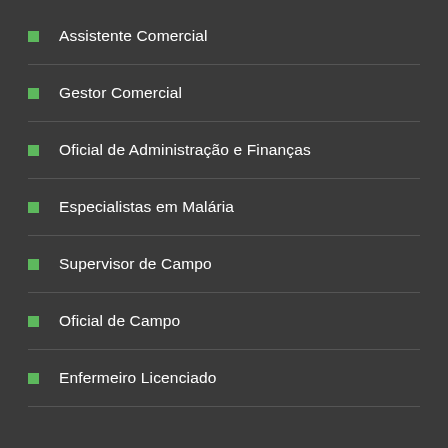Assistente Comercial
Gestor Comercial
Oficial de Administração e Finanças
Especialistas em Malária
Supervisor de Campo
Oficial de Campo
Enfermeiro Licenciado